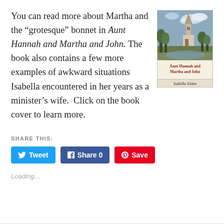You can read more about Martha and the “grotesque” bonnet in Aunt Hannah and Martha and John. The book also contains a few more examples of awkward situations Isabella encountered in her years as a minister’s wife.  Click on the book cover to learn more.
[Figure (illustration): Book cover of 'Aunt Hannah and Martha and John' by Isabella Alden. Shows a painting of a church spire and countryside landscape on the upper portion, with the title in red and white text on a cream/tan banner in the lower portion, and the author name 'Isabella Alden' below.]
SHARE THIS:
Tweet | Share 0 | Save
Loading…